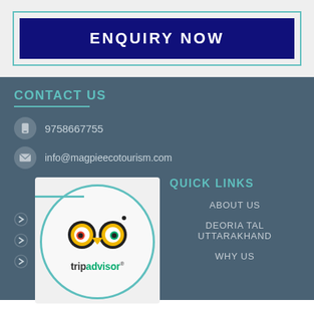ENQUIRY NOW
CONTACT US
9758667755
info@magpieecotourism.com
[Figure (logo): TripAdvisor logo with owl mascot inside a teal circle]
QUICK LINKS
ABOUT US
DEORIA TAL UTTARAKHAND
WHY US